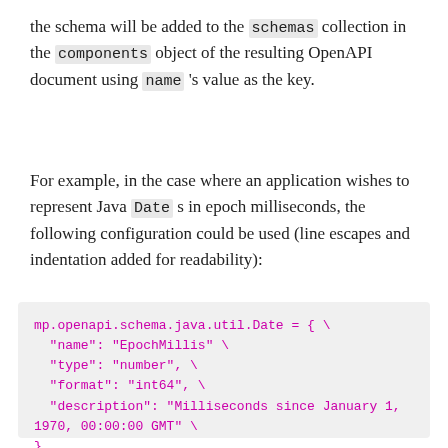the schema will be added to the schemas collection in the components object of the resulting OpenAPI document using name 's value as the key.
For example, in the case where an application wishes to represent Java Date s in epoch milliseconds, the following configuration could be used (line escapes and indentation added for readability):